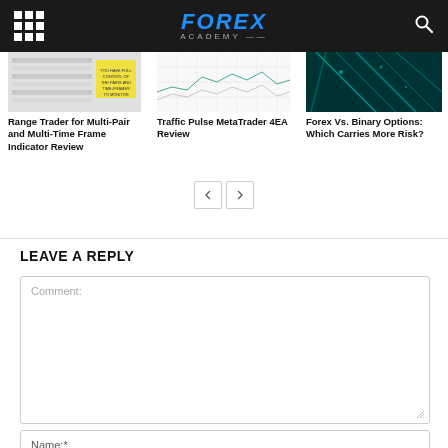FOREX ACADEMY
[Figure (screenshot): Thumbnail image of Range Trader multi-pair indicator spreadsheet]
Range Trader for Multi-Pair and Multi-Time Frame Indicator Review
[Figure (screenshot): Thumbnail image of Traffic Pulse MetaTrader 4 EA chart]
Traffic Pulse MetaTrader 4 EA Review
[Figure (photo): Thumbnail image of Forex vs Binary Options dark teal traffic/network image]
Forex Vs. Binary Options: Which Carries More Risk?
LEAVE A REPLY
Comment:
Name:*